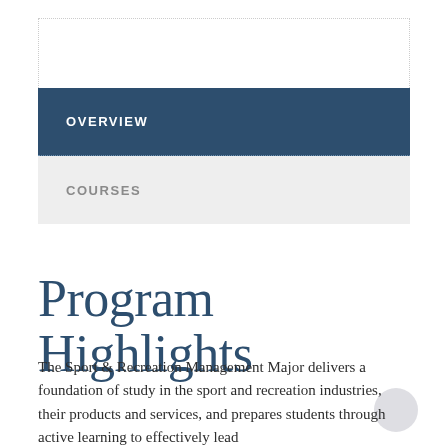OVERVIEW
COURSES
Program Highlights
The Sport & Recreation Management Major delivers a foundation of study in the sport and recreation industries, their products and services, and prepares students through active learning to effectively lead